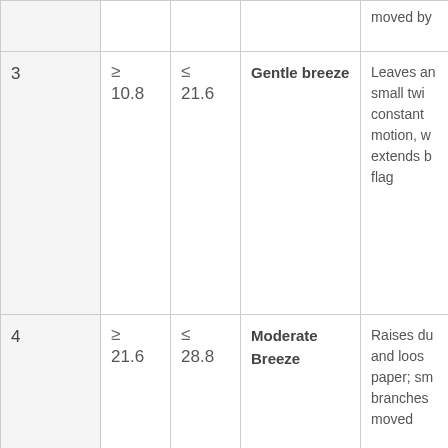| # | ≥ | ≤ | Name | Description |
| --- | --- | --- | --- | --- |
|  |  |  |  | moved by |
| 3 | ≥ 10.8 | ≤ 21.6 | Gentle breeze | Leaves and small twigs constant motion, wind extends light flag |
| 4 | ≥ 21.6 | ≤ 28.8 | Moderate Breeze | Raises dust and loose paper; small branches moved |